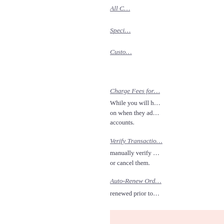All C…
Speci…
Custo…
Charge Fees for…
While you will h… on when they ad… accounts.
Verify Transactio…
manually verify … or cancel them.
Auto-Renew Ord…
renewed prior to…